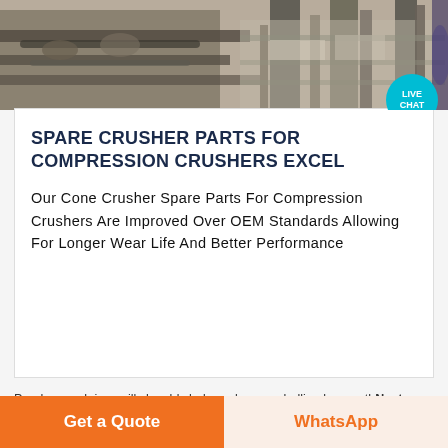[Figure (photo): Industrial crusher machinery equipment photographed outdoors, showing metal components, pipes and structural frames in a mining/quarrying setting. A 'LIVE CHAT' badge overlays the top-right corner.]
SPARE CRUSHER PARTS FOR COMPRESSION CRUSHERS EXCEL
Our Cone Crusher Spare Parts For Compression Crushers Are Improved Over OEM Standards Allowing For Longer Wear Life And Better Performance
Pre: how muh is a mills k gold clad rare kangroo bullion bar worthNext: crusher manufacturers in ap
Get a Quote
WhatsApp